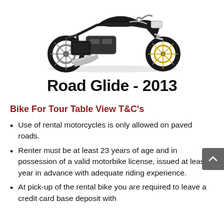[Figure (photo): Photo of a black Harley-Davidson Road Glide 2013 motorcycle, cropped showing the top portion of the bike on a white background]
Road Glide - 2013
Bike For Tour Table View T&C's
Use of rental motorcycles is only allowed on paved roads.
Renter must be at least 23 years of age and in possession of a valid motorbike license, issued at least a year in advance with adequate riding experience.
At pick-up of the rental bike you are required to leave a credit card base deposit with...